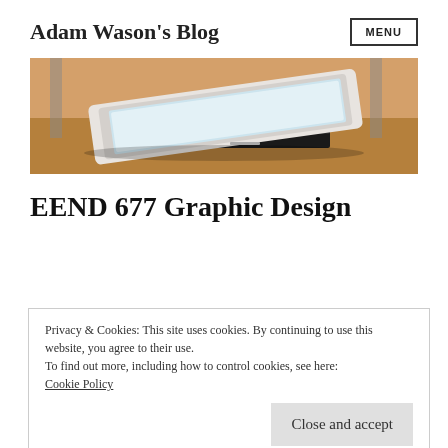Adam Wason's Blog
[Figure (photo): A tablet device resting on top of a stack of books on a wooden school desk]
EEND 677 Graphic Design
Privacy & Cookies: This site uses cookies. By continuing to use this website, you agree to their use.
To find out more, including how to control cookies, see here:
Cookie Policy
Close and accept
g